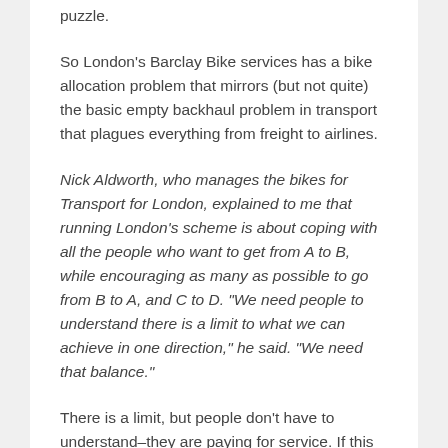puzzle.
So London's Barclay Bike services has a bike allocation problem that mirrors (but not quite) the basic empty backhaul problem in transport that plagues everything from freight to airlines.
Nick Aldworth, who manages the bikes for Transport for London, explained to me that running London's scheme is about coping with all the people who want to get from A to B, while encouraging as many as possible to go from B to A, and C to D. "We need people to understand there is a limit to what we can achieve in one direction," he said. "We need that balance."
There is a limit, but people don't have to understand–they are paying for service. If this